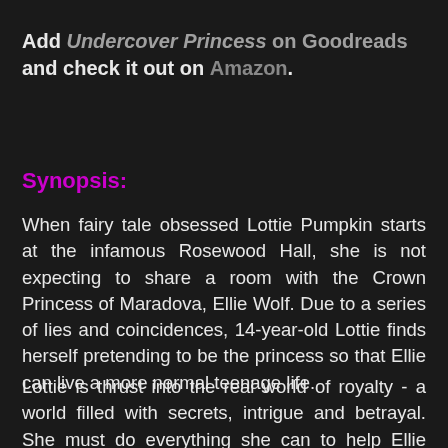Add Undercover Princess on Goodreads and check it out on Amazon.
Synopsis:
When fairy tale obsessed Lottie Pumpkin starts at the infamous Rosewood Hall, she is not expecting to share a room with the Crown Princess of Maradova, Ellie Wolf. Due to a series of lies and coincidences, 14-year-old Lottie finds herself pretending to be the princess so that Ellie can live a more normal teenage life.
Lottie is thrust into the real world of royalty - a world filled with secrets, intrigue and betrayal. She must do everything she can to help Ellie keep her